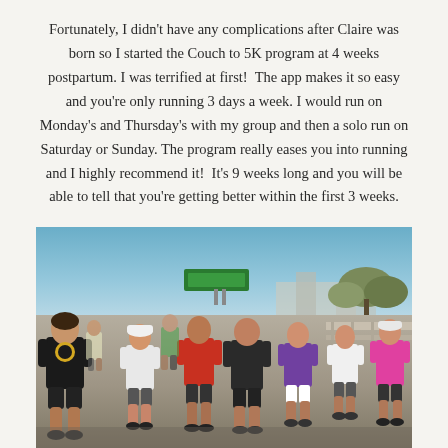Fortunately, I didn't have any complications after Claire was born so I started the Couch to 5K program at 4 weeks postpartum. I was terrified at first!  The app makes it so easy and you're only running 3 days a week. I would run on Monday's and Thursday's with my group and then a solo run on Saturday or Sunday. The program really eases you into running and I highly recommend it!  It's 9 weeks long and you will be able to tell that you're getting better within the first 3 weeks.
[Figure (photo): A group of runners participating in a 5K race on a bridge or overpass. The sky is clear blue, there are highway signs visible in the background, and trees on the right. Runners are wearing various colored shirts and athletic gear.]